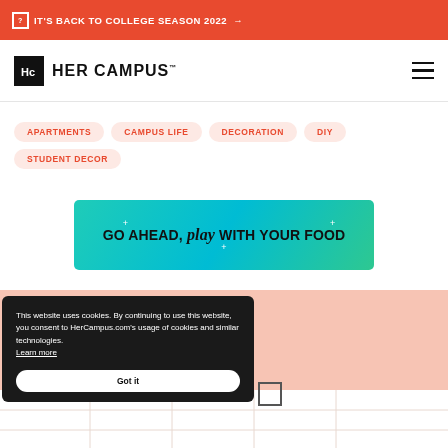IT'S BACK TO COLLEGE SEASON 2022 →
[Figure (logo): Her Campus logo with HC icon and text HER CAMPUS]
APARTMENTS
CAMPUS LIFE
DECORATION
DIY
STUDENT DECOR
[Figure (infographic): Advertisement banner with teal/green gradient background reading: GO AHEAD, play WITH YOUR FOOD]
This website uses cookies. By continuing to use this website, you consent to HerCampus.com's usage of cookies and similar technologies. Learn more
Got it